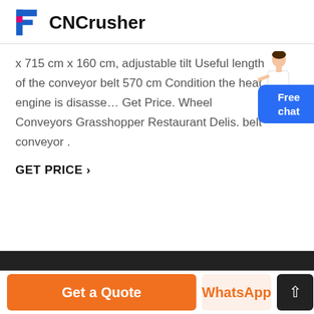CNCrusher
x 715 cm x 160 cm, adjustable tilt Useful length of the conveyor belt 570 cm Condition the heat engine is disasse… Get Price. Wheel Conveyors Grasshopper Restaurant Delis. belt conveyor .
GET PRICE ›
[Figure (illustration): Free chat widget with a person illustration and blue button labeled Free chat]
Get a Quote | WhatsApp | ↑